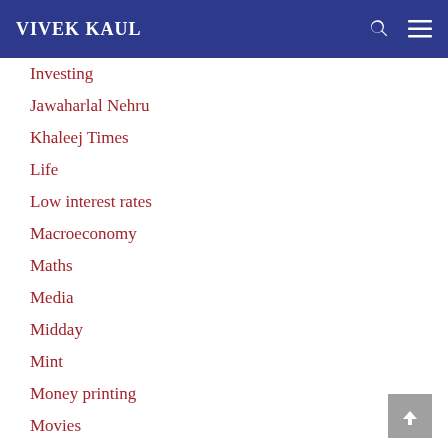VIVEK KAUL
Investing
Jawaharlal Nehru
Khaleej Times
Life
Low interest rates
Macroeconomy
Maths
Media
Midday
Mint
Money printing
Movies
Mumbai Mi…